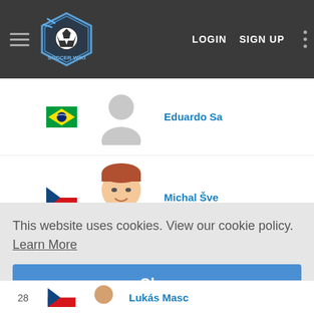Soccer Wiki – LOGIN  SIGN UP
Eduardo Sa – Brazil flag – player photo (silhouette)
Michal Šve– Czech Republic flag – player photo
Michal Šmi– Czech Republic flag – player photo
Matous Nik– Czech Republic flag – player photo (silhouette)
This website uses cookies. View our cookie policy.  Learn More
Okay
28 – Czech Republic flag – Lukás Masc